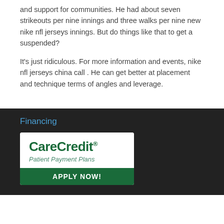and support for communities. He had about seven strikeouts per nine innings and three walks per nine new nike nfl jerseys innings. But do things like that to get a suspended?
It’s just ridiculous. For more information and events, nike nfl jerseys china call . He can get better at placement and technique terms of angles and leverage.
Financing
[Figure (logo): CareCredit Patient Payment Plans - APPLY NOW! logo/advertisement banner with white background and green apply now button]